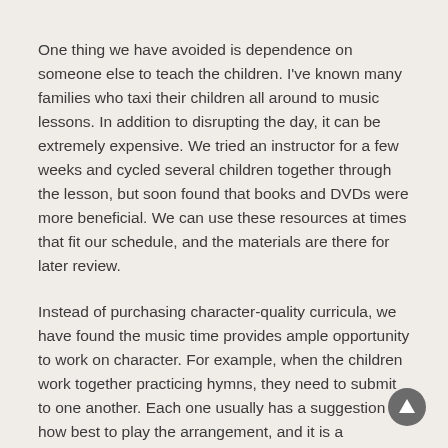One thing we have avoided is dependence on someone else to teach the children. I've known many families who taxi their children all around to music lessons. In addition to disrupting the day, it can be extremely expensive. We tried an instructor for a few weeks and cycled several children together through the lesson, but soon found that books and DVDs were more beneficial. We can use these resources at times that fit our schedule, and the materials are there for later review.
Instead of purchasing character-quality curricula, we have found the music time provides ample opportunity to work on character. For example, when the children work together practicing hymns, they need to submit to one another. Each one usually has a suggestion on how best to play the arrangement, and it is a wonderful exercise in submission for them to work through it with proper spirits.